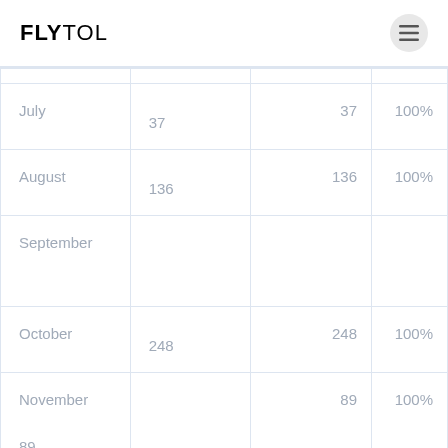FLYTOL
| Month |  | Total | % |
| --- | --- | --- | --- |
| July | 37 | 37 | 100% |
| August | 136 | 136 | 100% |
| September |  |  |  |
| October | 248 | 248 | 100% |
| November | 89 | 89 | 100% |